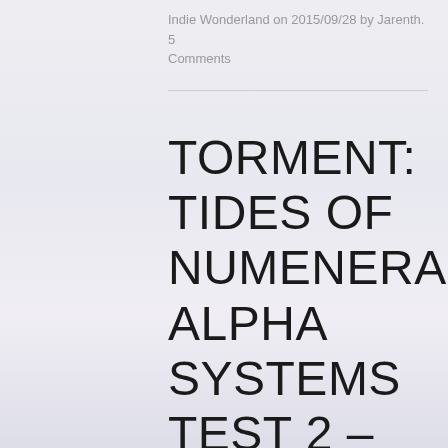Indie Wonderland on 2015/09/28 by Jarenth. 5 Comments
TORMENT: TIDES OF NUMENERA ALPHA SYSTEMS TEST 2 – EXPLORATION